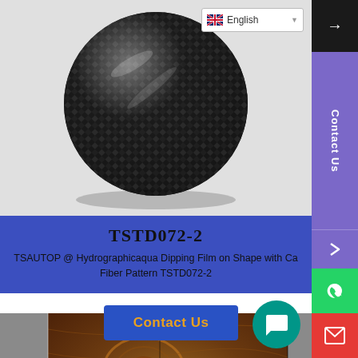[Figure (photo): Carbon fiber patterned sphere/dome object on white background, top portion of product page]
English
TSTD072-2
TSAUTOP @ Hydrographicaqua Dipping Film on Shape with Carbon Fiber Pattern TSTD072-2
[Figure (photo): Wood grain patterned flat panel product with burl wood texture on gray concrete background]
Contact Us